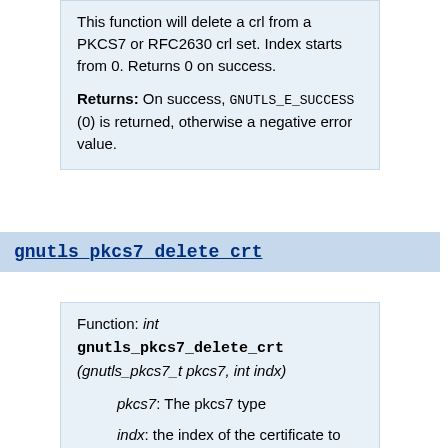This function will delete a crl from a PKCS7 or RFC2630 crl set. Index starts from 0. Returns 0 on success.

Returns: On success, GNUTLS_E_SUCCESS (0) is returned, otherwise a negative error value.
gnutls_pkcs7_delete_crt
Function: int gnutls_pkcs7_delete_crt (gnutls_pkcs7_t pkcs7, int indx)
pkcs7: The pkcs7 type
indx: the index of the certificate to delete
This function will